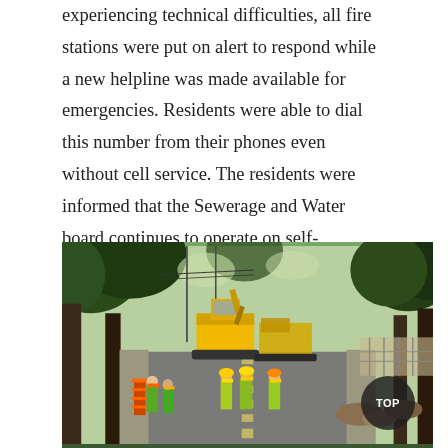experiencing technical difficulties, all fire stations were put on alert to respond while a new helpline was made available for emergencies. Residents were able to dial this number from their phones even without cell service. The residents were informed that the Sewerage and Water board continues to operate on self-generated power to drain storm water from the city and pump in drinking water. Towards the end of the hurricane, despite there being no power whatsoever, the city government started assessing roads for debris and updated a map so that residents can be aware of which roads are blocked, in case they were planning to evacuate.
[Figure (photo): Outdoor street scene showing road workers and construction equipment on a tree-lined road. Workers in yellow safety vests and hard hats are visible in the foreground. Yellow CAT excavator and other heavy machinery are visible in the background. Trees with green foliage line both sides of the road.]